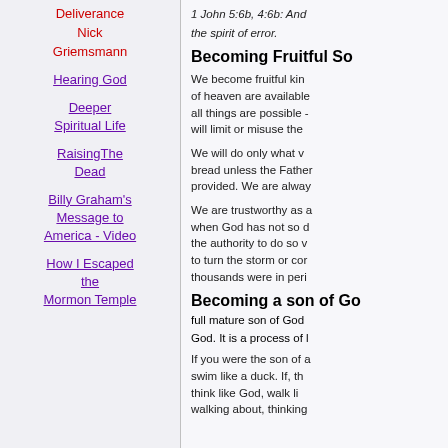Deliverance Nick Griemsmann
Hearing God
Deeper Spiritual Life
RaisingThe Dead
Billy Graham's Message to America - Video
How I Escaped the Mormon Temple
1 John 5:6b, 4:6b: And the spirit of error.
Becoming Fruitful So
We become fruitful kin of heaven are available all things are possible - will limit or misuse the
We will do only what v bread unless the Father provided. We are alway
We are trustworthy as a when God has not so d the authority to do so v to turn the storm or cor thousands were in peri
Becoming a son of Go full mature son of God God. It is a process of l
If you were the son of a swim like a duck. If, th think like God, walk li walking about, thinking